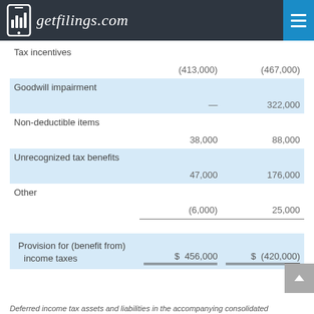getfilings.com
|  | Col1 | Col2 |
| --- | --- | --- |
| Tax incentives | (413,000) | (467,000) |
| Goodwill impairment | — | 322,000 |
| Non-deductible items | 38,000 | 88,000 |
| Unrecognized tax benefits | 47,000 | 176,000 |
| Other | (6,000) | 25,000 |
| Provision for (benefit from) income taxes | $ 456,000 | $ (420,000) |
Deferred income tax assets and liabilities in the accompanying consolidated